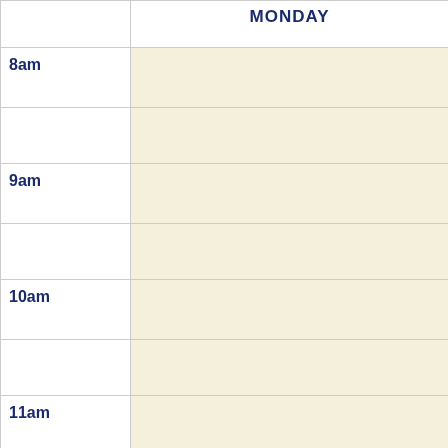|  | MONDAY | TUESDAY | WEDNESDAY |
| --- | --- | --- | --- |
| 8am |  |  |  |
|  |  |  |  |
| 9am |  |  |  |
|  |  |  |  |
| 10am |  |  |  |
|  |  |  |  |
| 11am |  |  |  |
|  | 11:30 - 1:10
CET-1112C-68566 |  | 9:30 - 11:10
EET-1142C-690 |